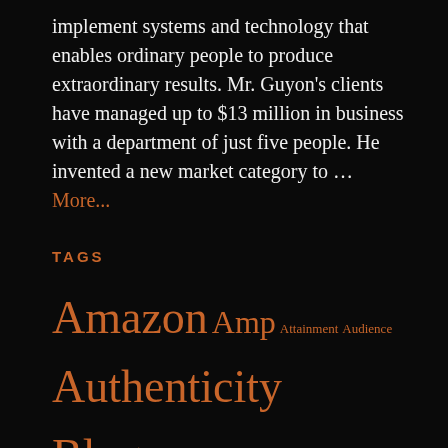implement systems and technology that enables ordinary people to produce extraordinary results. Mr. Guyon's clients have managed up to $13 million in business with a department of just five people. He invented a new market category to … More...
TAGS
Amazon Amp Attainment Audience Authenticity Blog Blogger Blogs Brian Tracy Dilemme Doing Research Email Enticement Exercise Expert Few Days Generating Leads Genius Google Gratitude Guru Internet Marketing Long Time Marketing Money Napoleon Napoleon Hill